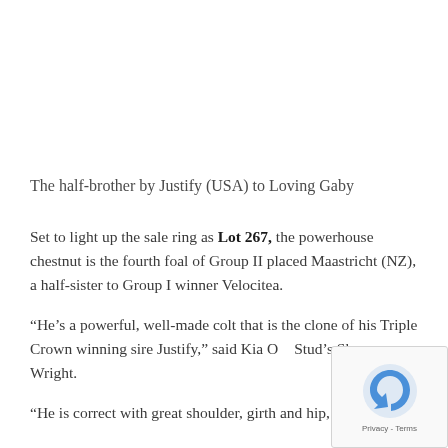The half-brother by Justify (USA) to Loving Gaby
Set to light up the sale ring as Lot 267, the powerhouse chestnut is the fourth foal of Group II placed Maastricht (NZ), a half-sister to Group I winner Velocitea.
“He’s a powerful, well-made colt that is the clone of his Triple Crown winning sire Justify,” said Kia Ora Stud’s Shane Wright.
“He is correct with great shoulder, girth and hip, he